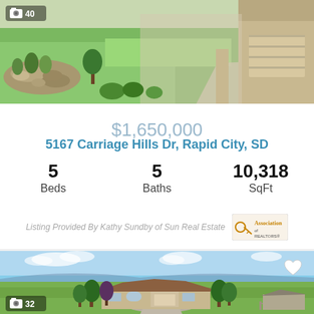[Figure (photo): Exterior photo of a residential property showing landscaped front yard with green lawn, rock garden, and driveway with garage visible at right. Camera icon with '40' photo count shown in top-left corner.]
$1,650,000
5167 Carriage Hills Dr, Rapid City, SD
5 Beds   5 Baths   10,318 SqFt
Listing Provided By Kathy Sundby of Sun Real Estate
[Figure (photo): Aerial drone photo of a large ranch-style home with circular driveway, mature trees, and open green fields with blue sky and mountains in background. Camera icon with '32' photo count shown in bottom-left corner. Heart/favorite icon in top-right corner.]